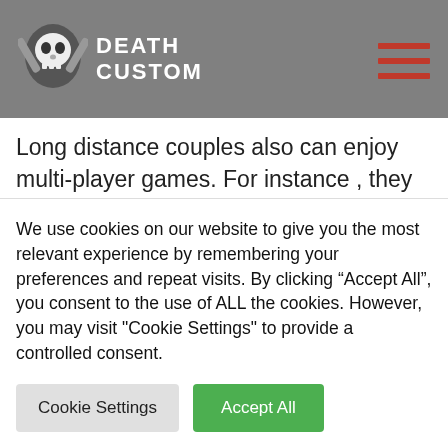DEATH CUSTOM
Long distance couples also can enjoy multi-player games. For instance , they can perform PUBG mobile, which is available on the two Android and Apple. You can also check out the app store, Google Perform, and download some game titles that will make you are feeling closer to your lover. Another common game is normally Find the Lamest Like Song. This kind of game entails searching YouTube hot ebony girl for lame love
We use cookies on our website to give you the most relevant experience by remembering your preferences and repeat visits. By clicking “Accept All”, you consent to the use of ALL the cookies. However, you may visit "Cookie Settings" to provide a controlled consent.